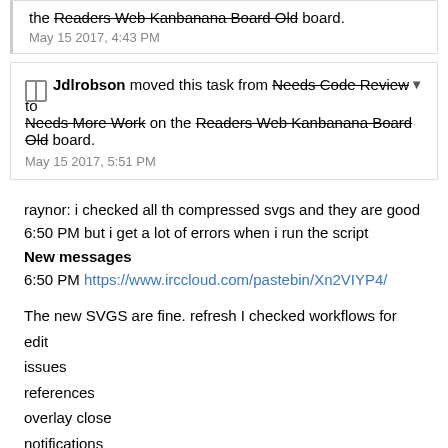the Readers Web Kanbanana Board Old board.
May 15 2017, 4:43 PM
Jdlrobson moved this task from Needs Code Review to Needs More Work on the Readers Web Kanbanana Board Old board.
May 15 2017, 5:51 PM
raynor: i checked all th compressed svgs and they are good
6:50 PM but i get a lot of errors when i run the script
New messages
6:50 PM https://www.irccloud.com/pastebin/Xn2VIYP4/

The new SVGS are fine. refresh I checked workflows for
edit
issues
references
overlay close
notifications
user page
watch